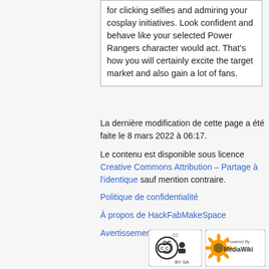for clicking selfies and admiring your cosplay initiatives. Look confident and behave like your selected Power Rangers character would act. That's how you will certainly excite the target market and also gain a lot of fans.
La dernière modification de cette page a été faite le 8 mars 2022 à 06:17.
Le contenu est disponible sous licence Creative Commons Attribution – Partage à l'identique sauf mention contraire.
Politique de confidentialité
À propos de HackFabMakeSpace
Avertissements
[Figure (logo): Creative Commons BY-SA badge and MediaWiki Powered By badge]